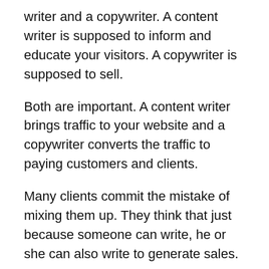writer and a copywriter. A content writer is supposed to inform and educate your visitors. A copywriter is supposed to sell.
Both are important. A content writer brings traffic to your website and a copywriter converts the traffic to paying customers and clients.
Many clients commit the mistake of mixing them up. They think that just because someone can write, he or she can also write to generate sales.
No, it is not as simple. There is a reason why copywriters charge so much money. They have the ability to turn casual visitors into paying